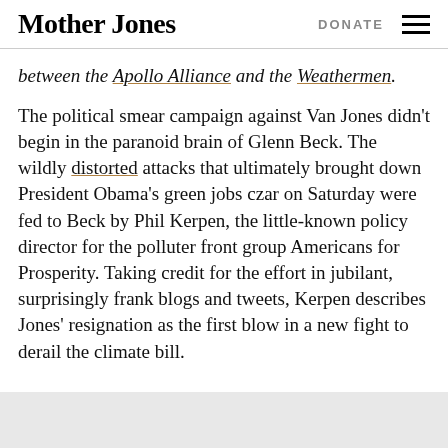Mother Jones | DONATE
between the Apollo Alliance and the Weathermen.
The political smear campaign against Van Jones didn't begin in the paranoid brain of Glenn Beck. The wildly distorted attacks that ultimately brought down President Obama's green jobs czar on Saturday were fed to Beck by Phil Kerpen, the little-known policy director for the polluter front group Americans for Prosperity. Taking credit for the effort in jubilant, surprisingly frank blogs and tweets, Kerpen describes Jones' resignation as the first blow in a new fight to derail the climate bill.